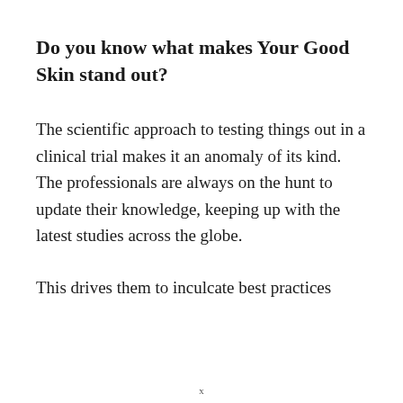Do you know what makes Your Good Skin stand out?
The scientific approach to testing things out in a clinical trial makes it an anomaly of its kind. The professionals are always on the hunt to update their knowledge, keeping up with the latest studies across the globe.
This drives them to inculcate best practices